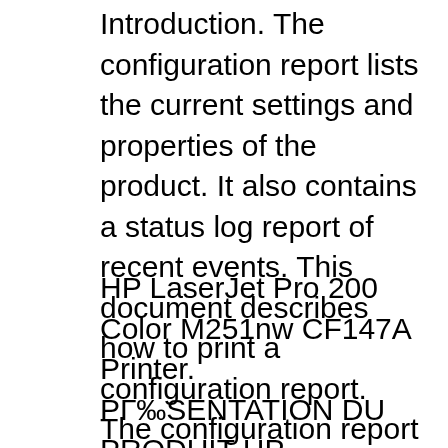Introduction. The configuration report lists the current settings and properties of the product. It also contains a status log report of recent events. This document describes how to print a configuration report. The configuration report contains the following information: Product information, such as the
HP LaserJet Pro 200 Color M251nw CF147A Printer. PRГ‰SENTATION DU PRODUIT HP LASERJET PRO 200 COLOR M276NW . Boostez votre productivitГ© grГŸce aux options polyvalentes de numГ©risation, tГ©lГ©copie et copie. Imprimez oГ№ que vous soyez avec HP ePrint4. Rationnalisez les tГŸches de